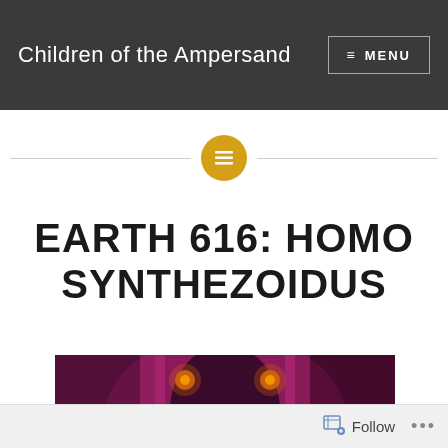Children of the Ampersand
[Figure (illustration): Decorative divider with a golden/amber circle containing a menu/lines icon, flanked by horizontal gray lines]
EARTH 616: HOMO SYNTHEZOIDUS
[Figure (illustration): Comic book illustration showing a close-up of a large robotic or villain face with glowing eyes, pink/purple color scheme]
Follow